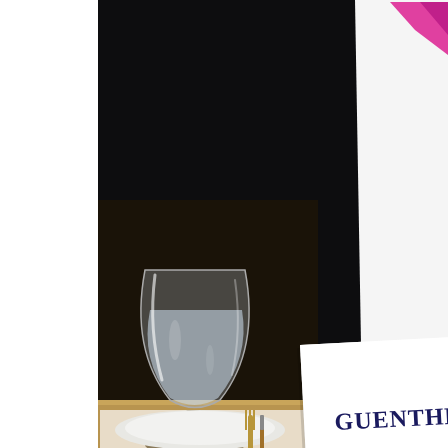[Figure (photo): A dinner table scene photographed in low light. On the left side is a white strip, then a dark background. In the center-left area there is a goblet/wine glass filled with water sitting on a white plate, with gold/bronze cutlery (fork and knife) visible nearby on a warm tan tablecloth. In the upper right and lower right are two overlapping white name placards/cards. The upper card has a pink/magenta logo or graphic in the top right corner. The lower card shows partial names in large dark navy blue italic/cursive font: 'GUENTHER', 'LAZAR', 'SCHOLZ', 'URY,' printed vertically one per line.]